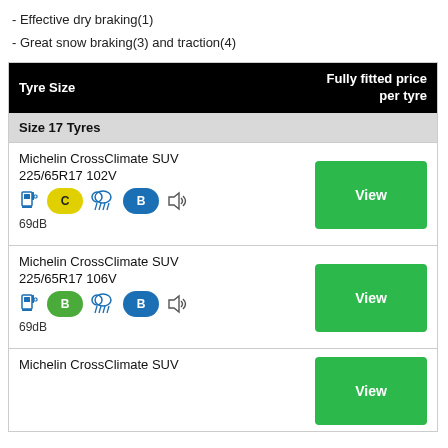- Effective dry braking(1)
- Great snow braking(3) and traction(4)
| Tyre Size | Fully fitted price per tyre |
| --- | --- |
| Michelin CrossClimate SUV 225/65R17 102V [C] [wet] [B] [69dB] | View |
| Michelin CrossClimate SUV 225/65R17 106V [B] [wet] [B] [69dB] | View |
| Michelin CrossClimate SUV ... | View |